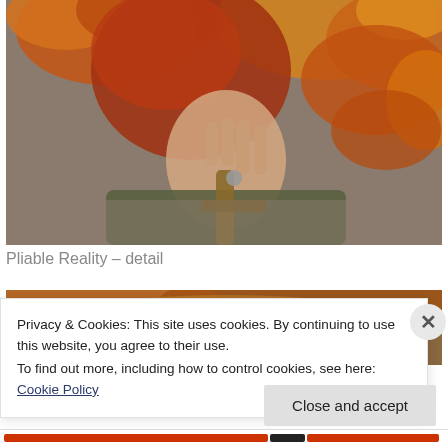[Figure (photo): Close-up photograph of a person with red/auburn hair adorned with autumn leaves (orange, red, yellow), wearing an olive/khaki jacket with a strap, hand near collar, against a muted background.]
Pliable Reality – detail
[Figure (photo): Partially visible photograph below, showing autumn foliage colors, mostly obscured by the cookie consent banner.]
Privacy & Cookies: This site uses cookies. By continuing to use this website, you agree to their use.
To find out more, including how to control cookies, see here: Cookie Policy
Close and accept